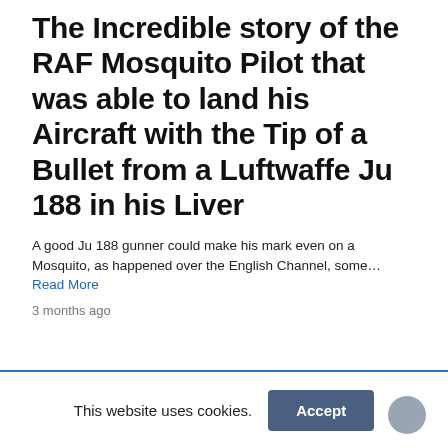The Incredible story of the RAF Mosquito Pilot that was able to land his Aircraft with the Tip of a Bullet from a Luftwaffe Ju 188 in his Liver
A good Ju 188 gunner could make his mark even on a Mosquito, as happened over the English Channel, some… Read More
3 months ago
This website uses cookies. Accept